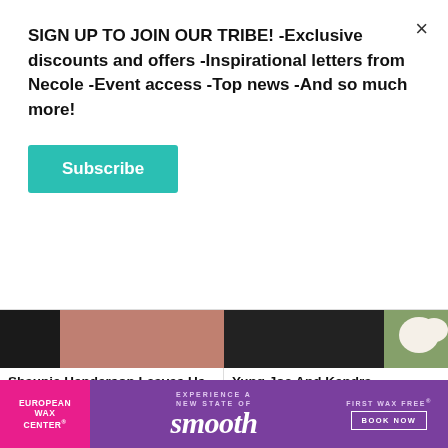SIGN UP TO JOIN OUR TRIBE! -Exclusive discounts and offers -Inspirational letters from Necole -Event access -Top news -And so much more!
Subscribe
[Figure (photo): Thumbnail image left - person in pink/mauve clothing]
[Figure (photo): Thumbnail image right - dark background with white flowers]
Shaunie Henderson Leaves Us Jealous Over Birthday Gift To Hub
Yung Joc And Kendra Robinson's Wedding Did
[Figure (photo): Man with beard and dark hair smiling]
[Figure (screenshot): Video player loading ad overlay with spinner and controls (pause, expand, mute)]
[Figure (photo): European Wax Center advertisement banner - purple background with smooth text, FIRST WAX free BOOK NOW]